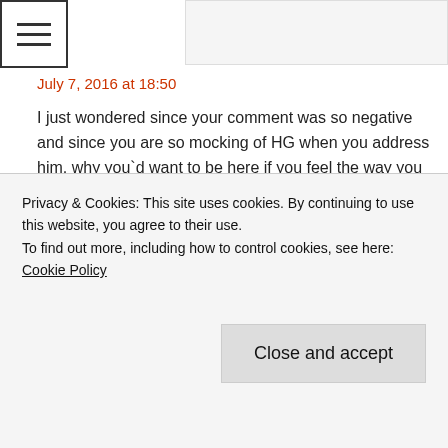[Figure (other): Hamburger menu icon button (three horizontal lines in a square border)]
July 7, 2016 at 18:50
I just wondered since your comment was so negative and since you are so mocking of HG when you address him, why you`d want to be here if you feel the way you do.
It`s clear I touched a nerve. Ouch.
I have no authority here, nor do I try to exert any. In fact, I deferred to HG and asked his permission before answering the questions some bloggers posed to me because this is his
Privacy & Cookies: This site uses cookies. By continuing to use this website, you agree to their use.
To find out more, including how to control cookies, see here: Cookie Policy
Close and accept